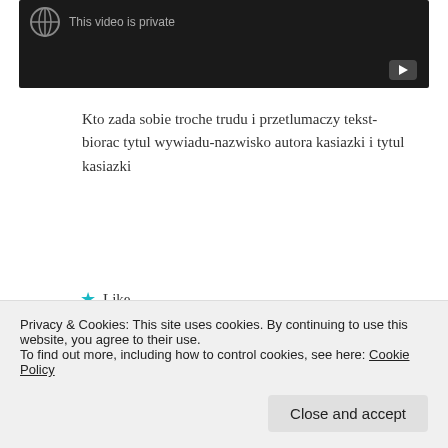[Figure (screenshot): A dark/black video player thumbnail showing 'This video is private' with a YouTube play button icon in the bottom right corner.]
Kto zada sobie troche trudu i przetlumaczy tekst-
biorac tytul wywiadu-nazwisko autora kasiazki i tytul kasiazki
★ Like
REPLY
Privacy & Cookies: This site uses cookies. By continuing to use this website, you agree to their use.
To find out more, including how to control cookies, see here: Cookie Policy
Close and accept